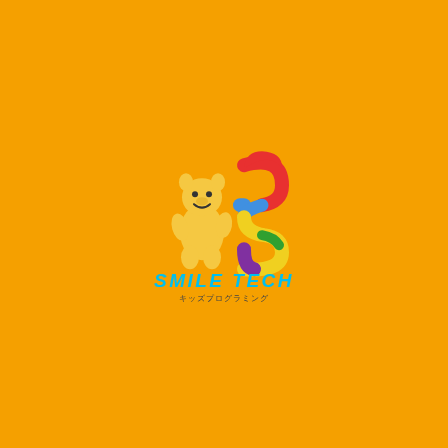[Figure (logo): Smile Tech kids programming logo: a yellow cartoon dog/bear mascot standing beside a rainbow-colored letter S, with 'SMILE TECH' in cyan bold italic text below and Japanese text 'キッズプログラミング' in small dark text underneath, all on an orange background.]